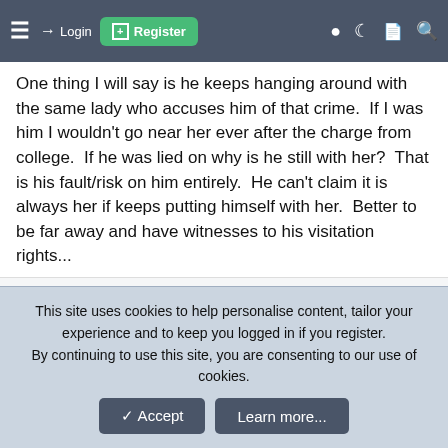≡  → Login  ⊞ Register  ● ☽ 📄 🔍
One thing I will say is he keeps hanging around with the same lady who accuses him of that crime.  If I was him I wouldn't go near her ever after the charge from college.  If he was lied on why is he still with her?  That is his fault/risk on him entirely.  He can't claim it is always her if keeps putting himself with her.  Better to be far away and have witnesses to his visitation rights...
🙂 Milkman
kittenmittens
Footballguy
This site uses cookies to help personalise content, tailor your experience and to keep you logged in if you register.
By continuing to use this site, you are consenting to our use of cookies.